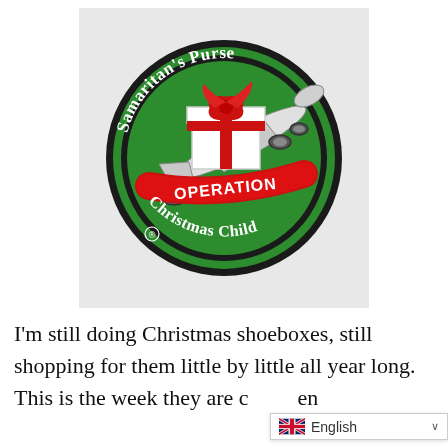[Figure (logo): Samaritan's Purse Operation Christmas Child logo: green circular badge with white text 'Samaritan's Purse' at top and 'Christmas Child' at bottom, red ribbon banner reading 'OPERATION', a white gift box with red bow in center, and a white airplane passing through the circle. Registered trademark symbol at bottom left.]
I'm still doing Christmas shoeboxes, still shopping for them little by little all year long. This is the week they are c[ollected]en